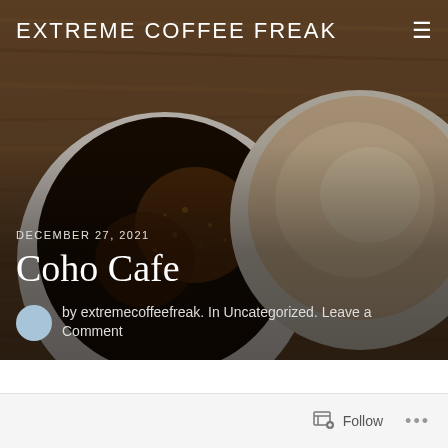[Figure (photo): Hero image showing two coffee cups from above on a wooden surface — one with dark black coffee on the left and one with a latte/cream coffee on the right]
EXTREME COFFEE FREAK
DECEMBER 27, 2021
Coho Cafe
by extremecoffeefreak. In Uncategorized. Leave a Comment
Follow ...